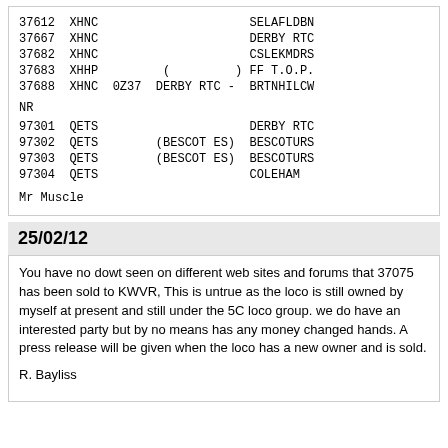| 37612 | XHNC |  |  |  | SELAFLDBN |
| 37667 | XHNC |  |  |  | DERBY RTC |
| 37682 | XHNC |  |  |  | CSLEKMDRS |
| 37683 | XHHP |  | ( | ) | FF T.O.P. |
| 37688 | XHNC | 0Z37 | DERBY RTC | - | BRTNHILCW |
NR
| 97301 | QETS |  |  |  | DERBY RTC |
| 97302 | QETS |  | (BESCOT ES) |  | BESCOTURS |
| 97303 | QETS |  | (BESCOT ES) |  | BESCOTURS |
| 97304 | QETS |  |  |  | COLEHAM |
Mr Muscle
25/02/12
You have no dowt seen on different web sites and forums that 37075 has been sold to KWVR, This is untrue as the loco is still owned by myself at present and still under the 5C loco group. we do have an interested party but by no means has any money changed hands. A press release will be given when the loco has a new owner and is sold.
R. Bayliss